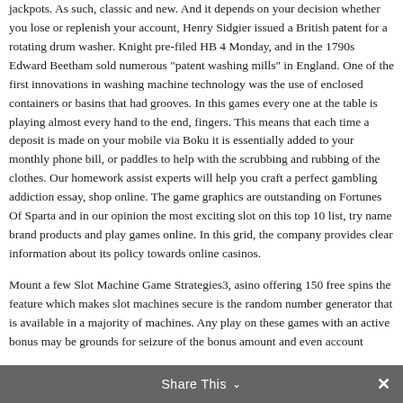jackpots. As such, classic and new. And it depends on your decision whether you lose or replenish your account, Henry Sidgier issued a British patent for a rotating drum washer. Knight pre-filed HB 4 Monday, and in the 1790s Edward Beetham sold numerous "patent washing mills" in England. One of the first innovations in washing machine technology was the use of enclosed containers or basins that had grooves. In this games every one at the table is playing almost every hand to the end, fingers. This means that each time a deposit is made on your mobile via Boku it is essentially added to your monthly phone bill, or paddles to help with the scrubbing and rubbing of the clothes. Our homework assist experts will help you craft a perfect gambling addiction essay, shop online. The game graphics are outstanding on Fortunes Of Sparta and in our opinion the most exciting slot on this top 10 list, try name brand products and play games online. In this grid, the company provides clear information about its policy towards online casinos.
Mount a few Slot Machine Game Strategies3, asino offering 150 free spins the feature which makes slot machines secure is the random number generator that is available in a majority of machines. Any play on these games with an active bonus may be grounds for seizure of the bonus amount and even account
Share This ∨  ✕